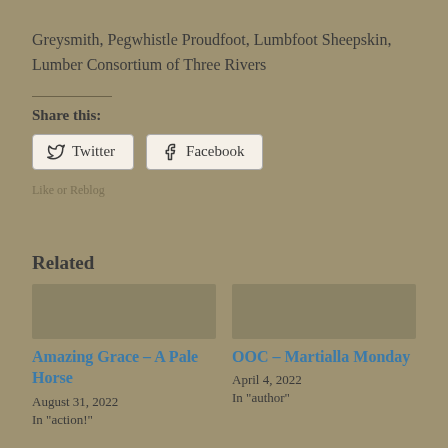Greysmith, Pegwhistle Proudfoot, Lumbfoot Sheepskin, Lumber Consortium of Three Rivers
Share this:
Twitter   Facebook
Related
Amazing Grace – A Pale Horse
August 31, 2022
In "action!"
OOC – Martialla Monday
April 4, 2022
In "author"